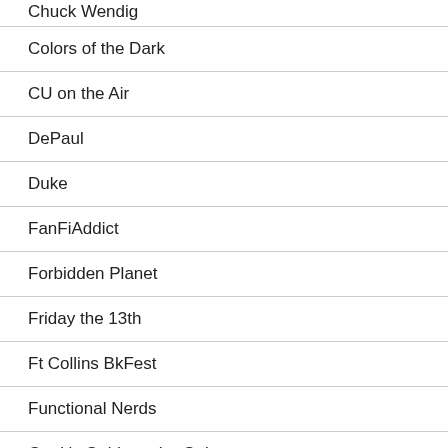Chuck Wendig
Colors of the Dark
CU on the Air
DePaul
Duke
FanFiAddict
Forbidden Planet
Friday the 13th
Ft Collins BkFest
Functional Nerds
Geek's Guide to the Galaxy
Georgetown